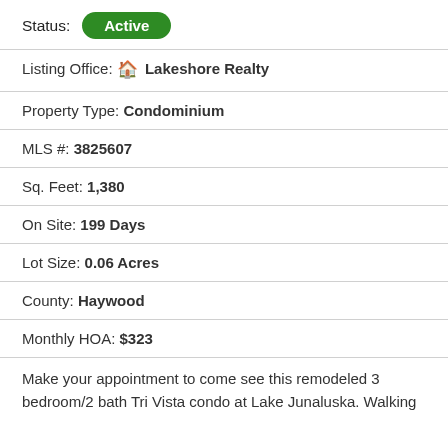Status: Active
Listing Office: Lakeshore Realty
Property Type: Condominium
MLS #: 3825607
Sq. Feet: 1,380
On Site: 199 Days
Lot Size: 0.06 Acres
County: Haywood
Monthly HOA: $323
Make your appointment to come see this remodeled 3 bedroom/2 bath Tri Vista condo at Lake Junaluska. Walking